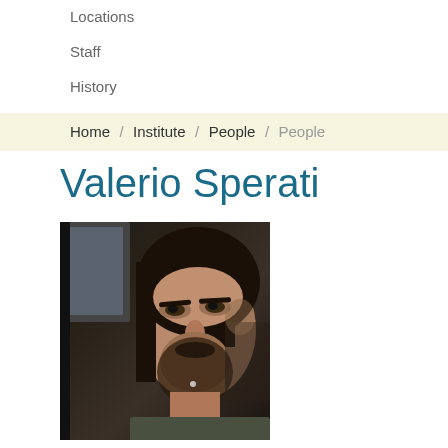Locations
Staff
History
Home / Institute / People / People
Valerio Sperati
[Figure (photo): Portrait photo of Valerio Sperati, a man with long dark hair and a beard, looking upward, photographed from below in a car.]